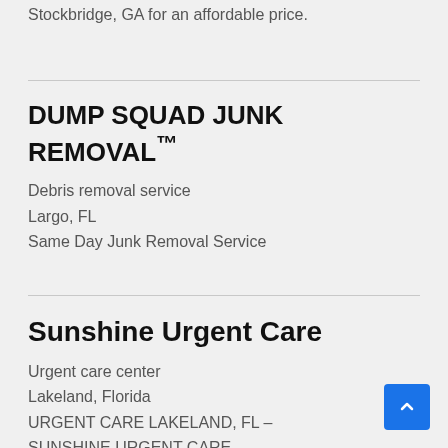Stockbridge, GA for an affordable price.
DUMP SQUAD JUNK REMOVAL™
Debris removal service
Largo, FL
Same Day Junk Removal Service
Sunshine Urgent Care
Urgent care center
Lakeland, Florida
URGENT CARE LAKELAND, FL – SUNSHINE URGENT CARE